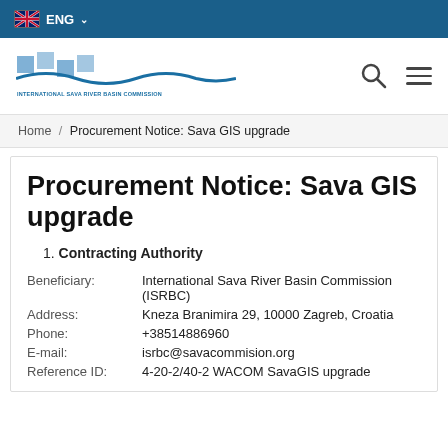ENG
[Figure (logo): International Sava River Basin Commission logo with blue river graphic and text]
Home / Procurement Notice: Sava GIS upgrade
Procurement Notice: Sava GIS upgrade
1. Contracting Authority
| Field | Value |
| --- | --- |
| Beneficiary: | International Sava River Basin Commission (ISRBC) |
| Address: | Kneza Branimira 29, 10000 Zagreb, Croatia |
| Phone: | +38514886960 |
| E-mail: | isrbc@savacommision.org |
| Reference ID: | 4-20-2/40-2 WACOM SavaGIS upgrade |